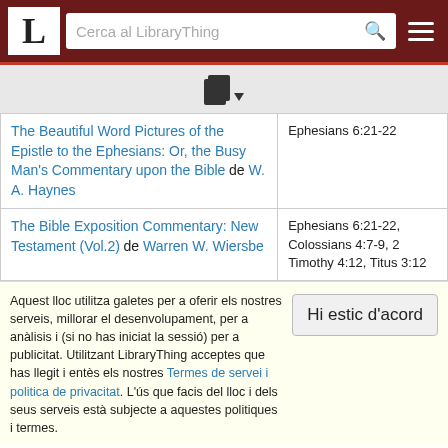LibraryThing — Cerca al LibraryThing
[Figure (other): LibraryThing book/document icon with small dropdown arrow]
| Book title and author | Reference |
| --- | --- |
| The Beautiful Word Pictures of the Epistle to the Ephesians: Or, the Busy Man's Commentary upon the Bible de W. A. Haynes | Ephesians 6:21-22 |
| The Bible Exposition Commentary: New Testament (Vol.2) de Warren W. Wiersbe | Ephesians 6:21-22, Colossians 4:7-9, 2 Timothy 4:12, Titus 3:12 |
Aquest lloc utilitza galetes per a oferir els nostres serveis, millorar el desenvolupament, per a anàlisis i (si no has iniciat la sessió) per a publicitat. Utilitzant LibraryThing acceptes que has llegit i entès els nostres Termes de servei i politica de privacitat. L'ús que facis del lloc i dels seus serveis està subjecte a aquestes politiques i termes.